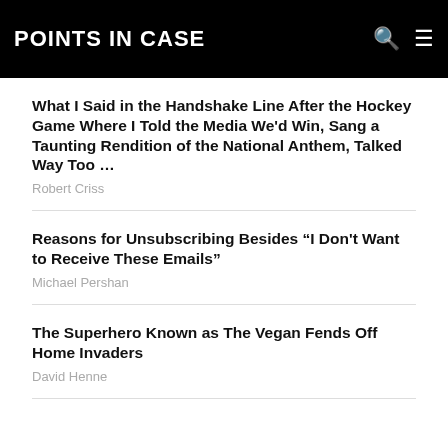POINTS IN CASE
What I Said in the Handshake Line After the Hockey Game Where I Told the Media We'd Win, Sang a Taunting Rendition of the National Anthem, Talked Way Too …
Robert Criss
Reasons for Unsubscribing Besides “I Don't Want to Receive These Emails”
Michael Pershan
The Superhero Known as The Vegan Fends Off Home Invaders
David Henne